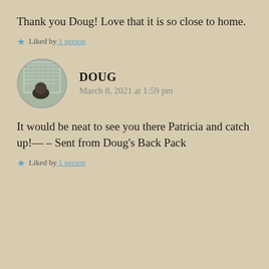Thank you Doug! Love that it is so close to home.
Liked by 1 person
[Figure (photo): Circular avatar photo of Doug showing a blurry outdoor scene with a person and lattice structure]
DOUG
March 8, 2021 at 1:59 pm
It would be neat to see you there Patricia and catch up!— – Sent from Doug's Back Pack
Liked by 1 person